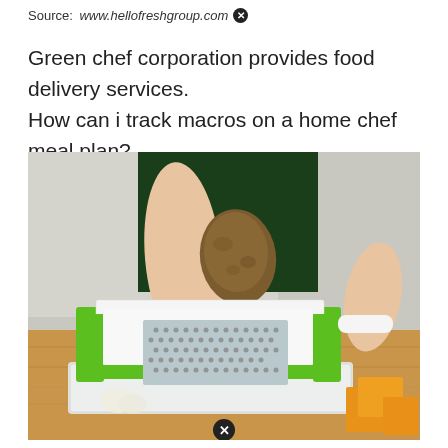Source: www.hellofreshgroup.com ✕
Green chef corporation provides food delivery services. How can i track macros on a home chef meal plan?
[Figure (photo): A person holding a potato-like food item over a green and white kitchen mandoline/grater slicer placed on a wooden surface. The grater has a metal grating plate and sits on a clear plastic container. Orange cheese blocks are visible in the bottom right corner.]